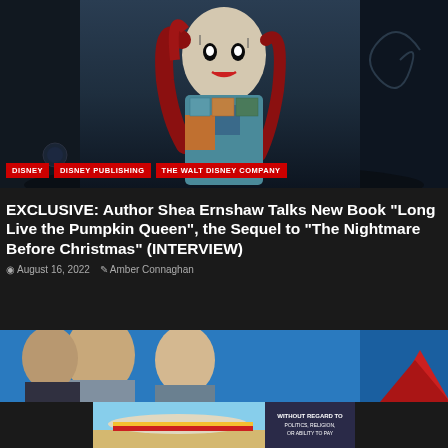[Figure (photo): Hero image of Sally character from The Nightmare Before Christmas, with stitched doll appearance, red hair, and patchwork clothing against a dark spooky background with skulls and spiral hill]
DISNEY
DISNEY PUBLISHING
THE WALT DISNEY COMPANY
EXCLUSIVE: Author Shea Ernshaw Talks New Book “Long Live the Pumpkin Queen”, the Sequel to “The Nightmare Before Christmas” (INTERVIEW)
August 16, 2022   Amber Connaghan
[Figure (photo): Two people (man and woman) visible in foreground against a blue sky background with a red tree/decoration on the right side]
[Figure (photo): Advertisement banner showing an airplane with colorful livery and text WITHOUT REGARD TO POLITICS, RELIGION, OR ABILITY TO PAY]